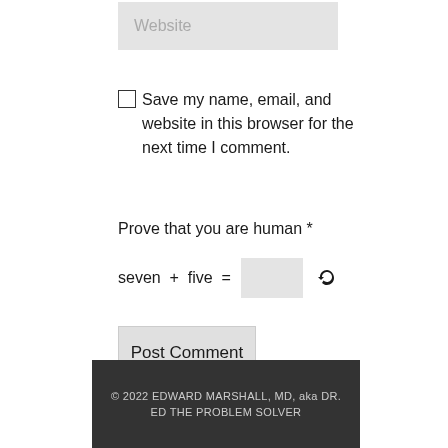[Figure (screenshot): Website input field with placeholder text 'Website' on light gray background]
Save my name, email, and website in this browser for the next time I comment.
Prove that you are human *
seven + five =
Post Comment
© 2022 EDWARD MARSHALL, MD, aka DR. ED THE PROBLEM SOLVER